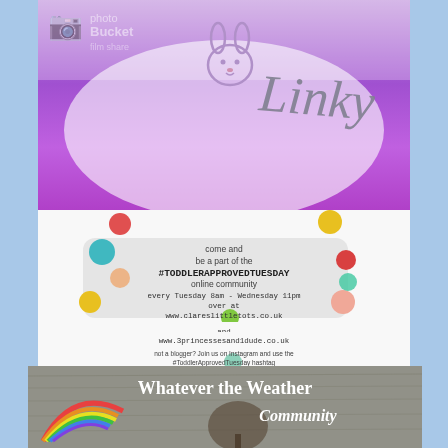[Figure (illustration): Photo linky banner with purple gradient background, bunny icon, and text 'Linky']
[Figure (infographic): Toddler Approved Tuesday community infographic with colorful dots and text inviting people to join the online community every Tuesday 8am - Wednesday 11pm at clareslittletots.co.uk and 3princessesand1dude.co.uk, with Instagram hashtag #ToddlerApprovedTuesday]
[Figure (illustration): Whatever the Weather Community banner with grey textured background, rainbow on left, text 'Whatever the Weather' and 'Community']